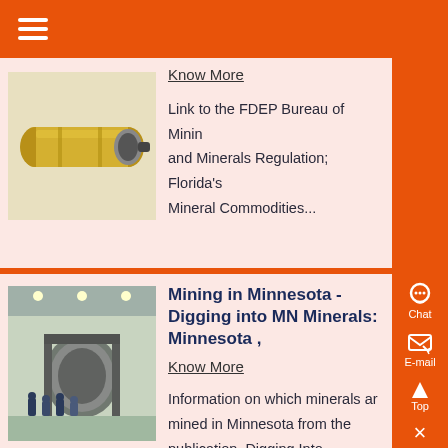Know More
Link to the FDEP Bureau of Mining and Minerals Regulation; Florida's Mineral Commodities...
[Figure (photo): Yellow industrial cylinder/drum machine]
Mining in Minnesota - Digging into MN Minerals: Minnesota ,
Know More
Information on which minerals are mined in Minnesota from the publication, Digging Into Minnesota's Minerals by the Minnesota Department of Natural Resources....
[Figure (photo): Industrial facility interior with large machinery and group of workers standing in front]
Chat  E-mail  Top  ×